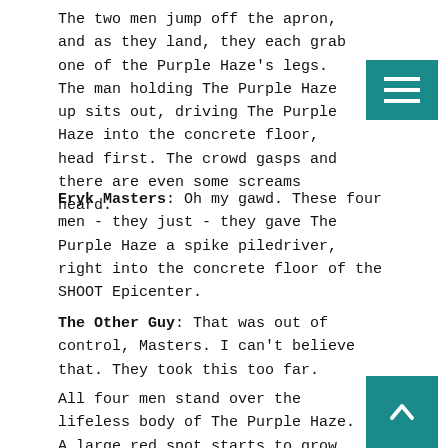The two men jump off the apron, and as they land, they each grab one of the Purple Haze's legs.  The man holding The Purple Haze up sits out, driving The Purple Haze into the concrete floor, head first.  The crowd gasps and there are even some screams heard.
Eryk Masters: Oh my gawd.  These four men - they just - they gave The Purple Haze a spike piledriver, right into the concrete floor of the SHOOT Epicenter.
The Other Guy: That was out of control, Masters.  I can't believe that.  They took this too far.
All four men stand over the lifeless body of The Purple Haze.  A large red spot starts to grow on the top of Purple Mask of The Purple Haze.  The announcers wordlessly show a replay of the spike piledriver.